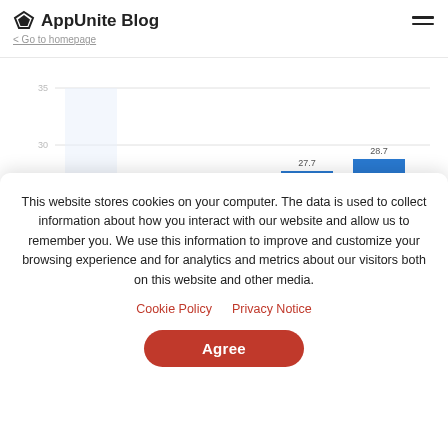AppUnite Blog | < Go to homepage
[Figure (bar-chart): ]
This website stores cookies on your computer. The data is used to collect information about how you interact with our website and allow us to remember you. We use this information to improve and customize your browsing experience and for analytics and metrics about our visitors both on this website and other media.
Cookie Policy   Privacy Notice
Agree